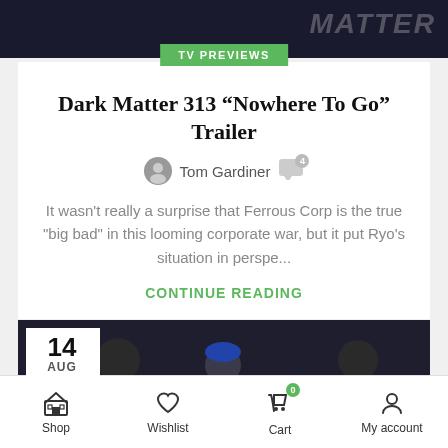[Figure (screenshot): Dark cinematic banner image with 'MATTER' text logo visible on the right in grey]
TV PREVIEWS
Dark Matter 313 “Nowhere To Go” Trailer
Tom Gardiner [comment icon with 4]
It wasn't really a surprise that Ferrous Corp is the true "big bad" in this looming corporate war, but it put Ryo's situation in perspe...
CONTINUE READING
[Figure (photo): Three people in a dark scene - two men and a woman with blue hair, appearing to be from a TV show. Date badge showing 14 AUG in top-left corner.]
Shop   Wishlist   Cart (0)   My account